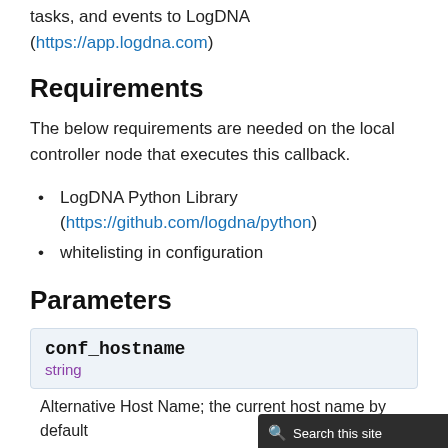tasks, and events to LogDNA (https://app.logdna.com)
Requirements
The below requirements are needed on the local controller node that executes this callback.
LogDNA Python Library (https://github.com/logdna/python)
whitelisting in configuration
Parameters
| conf_hostname | string |
| --- | --- |
| Alternative Host Name; the current host name by default |
Search this site